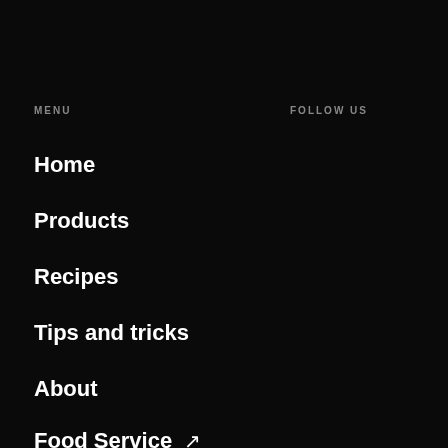MENU
FOLLOW US
Home
Products
Recipes
Tips and tricks
About
Food Service ↗